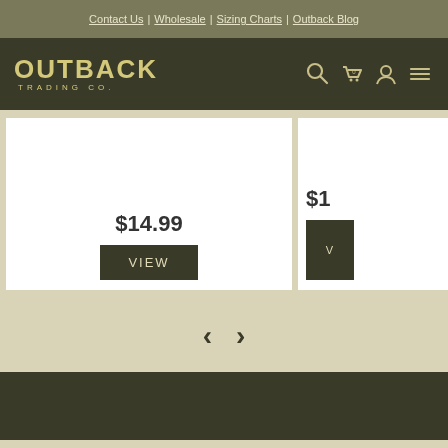Contact Us | Wholesale | Sizing Charts | Outback Blog
[Figure (logo): Outback Trading Co. logo in gold/yellow text on dark olive background, with navigation icons (search, cart, user, menu)]
$14.99
VIEW
$1...
V...
‹
›
CUSTOMER SUPPORT